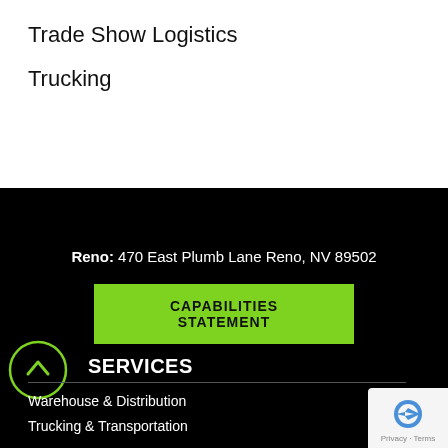Trade Show Logistics
Trucking
[Figure (photo): Black background section with company contact and navigation elements]
Reno: 470 East Plumb Lane Reno, NV 89502
CAPABILITIES STATEMENT
SERVICES
Warehouse & Distribution
Trucking & Transportation